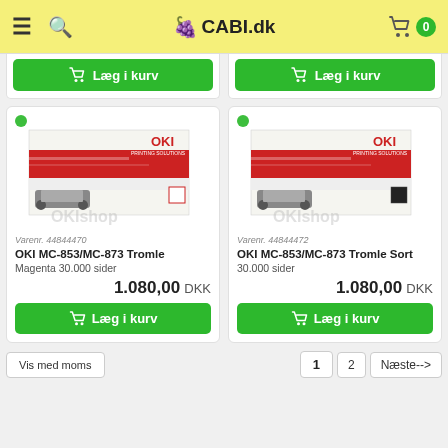CABI.dk
[Figure (screenshot): Top partial product cards with green 'Læg i kurv' buttons visible at top]
[Figure (photo): OKI MC-853/MC-873 Tromle Magenta product box image]
Varenr. 44844470
OKI MC-853/MC-873 Tromle Magenta 30.000 sider
1.080,00 DKK
[Figure (photo): OKI MC-853/MC-873 Tromle Sort product box image]
Varenr. 44844472
OKI MC-853/MC-873 Tromle Sort 30.000 sider
1.080,00 DKK
Vis med moms
1  2  Næste-->